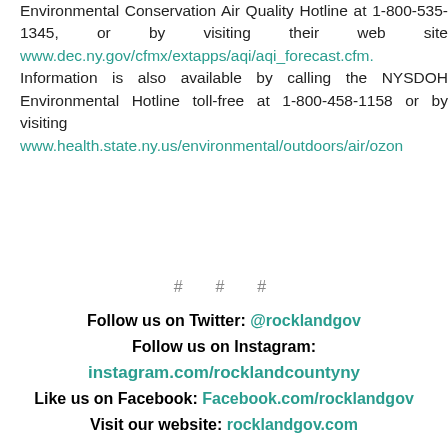Environmental Conservation Air Quality Hotline at 1-800-535-1345, or by visiting their web site www.dec.ny.gov/cfmx/extapps/aqi/aqi_forecast.cfm. Information is also available by calling the NYSDOH Environmental Hotline toll-free at 1-800-458-1158 or by visiting www.health.state.ny.us/environmental/outdoors/air/ozon
# # #
Follow us on Twitter: @rocklandgov
Follow us on Instagram:
instagram.com/rocklandcountyny
Like us on Facebook: Facebook.com/rocklandgov
Visit our website: rocklandgov.com